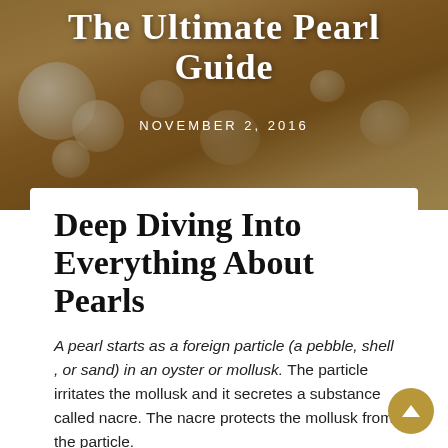The Ultimate Pearl Guide
NOVEMBER 2, 2016
Deep Diving Into Everything About Pearls
A pearl starts as a foreign particle (a pebble, shell , or sand) in an oyster or mollusk. The particle irritates the mollusk and it secretes a substance called nacre. The nacre protects the mollusk from the particle.
Over the years, layers upon layers of nacre adhere to the particle, which results in a pearl.